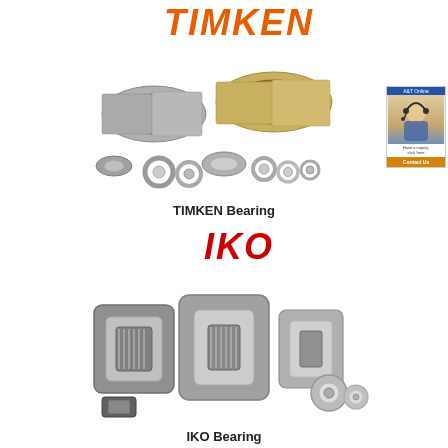[Figure (illustration): TIMKEN brand logo in orange italic bold text above a photo illustration of various TIMKEN industrial bearings including tapered roller bearings and ball bearings in metallic silver/gold tones arranged as a product group shot]
TIMKEN Bearing
[Figure (illustration): IKO brand logo in red bold italic text above a photo illustration of various IKO needle roller bearings and cylindrical bearings in metallic silver/grey tones arranged as a product group shot]
IKO Bearing
[Figure (photo): Small customer service advertisement widget showing a woman with a headset on a blue/white background with text and an orange button]